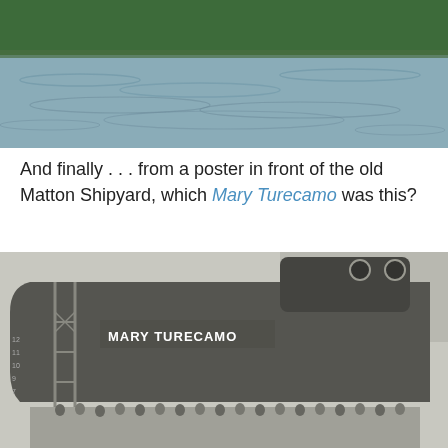[Figure (photo): Top portion of a photograph showing a river or lake with calm rippling water and green tree-lined shore in the background.]
And finally . . . from a poster in front of the old Matton Shipyard, which Mary Turecamo was this?
[Figure (photo): Black and white historical photograph of the tugboat or vessel named 'MARY TURECAMO' at a shipyard, shown from the side with scaffolding and a crowd of people gathered in front during what appears to be a launching ceremony.]